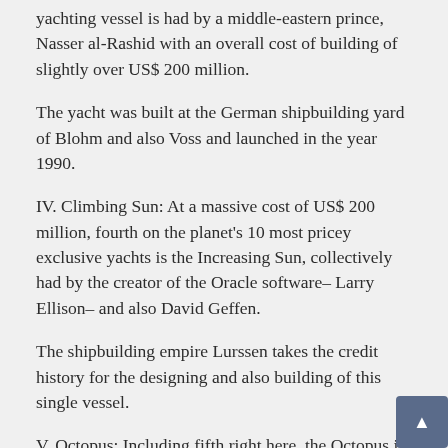yachting vessel is had by a middle-eastern prince, Nasser al-Rashid with an overall cost of building of slightly over US$ 200 million.
The yacht was built at the German shipbuilding yard of Blohm and also Voss and launched in the year 1990.
IV. Climbing Sun: At a massive cost of US$ 200 million, fourth on the planet's 10 most pricey exclusive yachts is the Increasing Sun, collectively had by the creator of the Oracle software– Larry Ellison– and also David Geffen.
The shipbuilding empire Lurssen takes the credit history for the designing and also building of this single vessel.
V. Octopus: Including fifth right here, the Octopus is